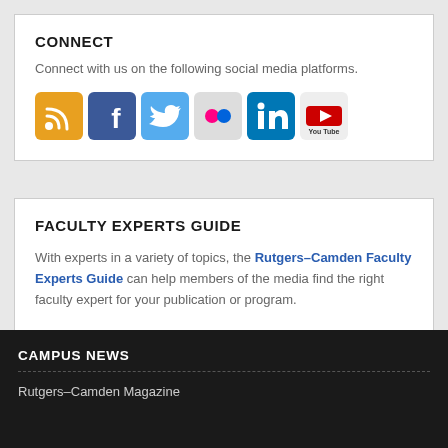CONNECT
Connect with us on the following social media platforms.
[Figure (other): Row of social media icons: RSS (orange), Facebook (blue), Twitter (cyan), Flickr (grey/pink dots), LinkedIn (blue), YouTube (red/white)]
FACULTY EXPERTS GUIDE
With experts in a variety of topics, the Rutgers–Camden Faculty Experts Guide can help members of the media find the right faculty expert for your publication or program.
CAMPUS NEWS
Rutgers–Camden Magazine